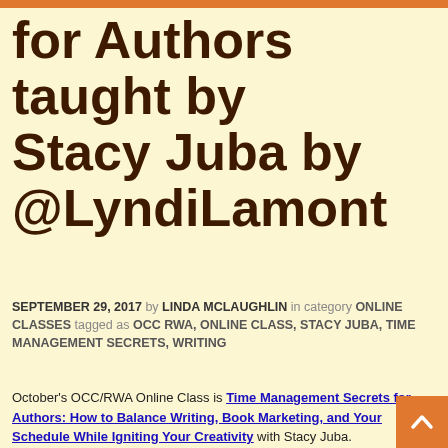for Authors taught by Stacy Juba by @LyndiLamont
SEPTEMBER 29, 2017 by LINDA MCLAUGHLIN in category ONLINE CLASSES tagged as OCC RWA, ONLINE CLASS, STACY JUBA, TIME MANAGEMENT SECRETS, WRITING
October's OCC/RWA Online Class is Time Management Secrets for Authors: How to Balance Writing, Book Marketing, and Your Schedule While Igniting Your Creativity with Stacy Juba.
[Figure (infographic): Box with class info: Time Management Secrets for Authors, OCC/RWA ONLINE CLASS, Instructor: Stacy Juba, October 16 - November 10, 2017]